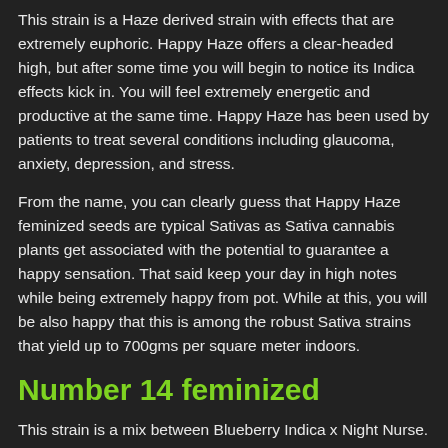This strain is a Haze derived strain with effects that are extremely euphoric. Happy Haze offers a clear-headed high, but after some time you will begin to notice its Indica effects kick in. You will feel extremely energetic and productive at the same time. Happy Haze has been used by patients to treat several conditions including glaucoma, anxiety, depression, and stress.
From the name, you can clearly guess that Happy Haze feminized seeds are typical Sativas as Sativa cannabis plants get associated with the potential to guarantee a happy sensation. That said keep your day in high notes while being extremely happy from pot. While at this, you will be also happy that this is among the robust Sativa strains that yield up to 700gms per square meter indoors.
Number 14 feminized
This strain is a mix between Blueberry Indica x Night Nurse. Inside or out this hybrid has got everything you are looking for in a strain, rock hard buds, and a